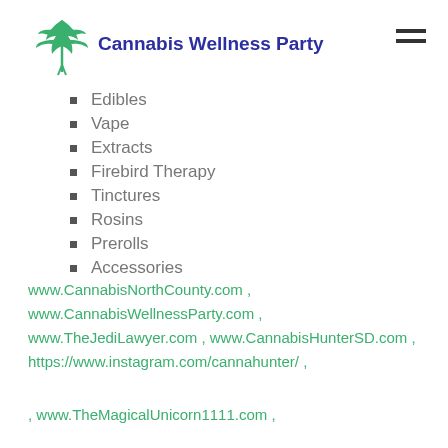Cannabis Wellness Party
Edibles
Vape
Extracts
Firebird Therapy
Tinctures
Rosins
Prerolls
Accessories
www.CannabisNorthCounty.com , www.CannabisWellnessParty.com , www.TheJediLawyer.com , www.CannabisHunterSD.com , https://www.instagram.com/cannahunter/ ,
, www.TheMagicalUnicorn1111.com ,